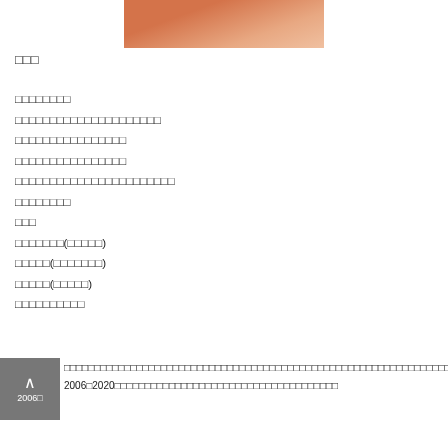[Figure (photo): Partial photo of a person wearing an orange/rust colored top, cropped at top of page]
□□□
□□□□□□□□
□□□□□□□□□□□□□□□□□□□□□
□□□□□□□□□□□□□□□□
□□□□□□□□□□□□□□□□
□□□□□□□□□□□□□□□□□□□□□□□
□□□□□□□□
□□□
□□□□□□□(□□□□□)
□□□□□(□□□□□□□)
□□□□□(□□□□□)
□□□□□□□□□□
□□□□□□□□□□□□□□□□□□□□□□□□□□□□□□□□□□□□□□□□□□□□□□□□□□□□□□□□□□□□□□□□
2006□2020□□□□□□□□□□□□□□□□□□□□□□□□□□□□□□□□□□□□□